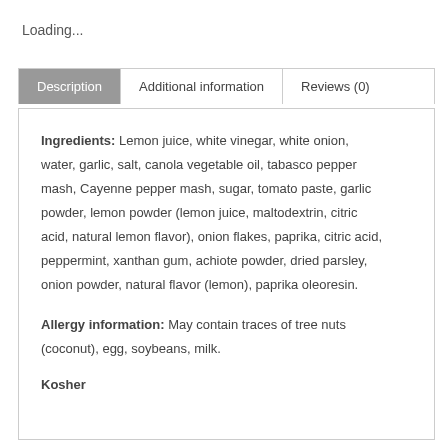Loading...
Description | Additional information | Reviews (0)
Ingredients: Lemon juice, white vinegar, white onion, water, garlic, salt, canola vegetable oil, tabasco pepper mash, Cayenne pepper mash, sugar, tomato paste, garlic powder, lemon powder (lemon juice, maltodextrin, citric acid, natural lemon flavor), onion flakes, paprika, citric acid, peppermint, xanthan gum, achiote powder, dried parsley, onion powder, natural flavor (lemon), paprika oleoresin.
Allergy information: May contain traces of tree nuts (coconut), egg, soybeans, milk.
Kosher